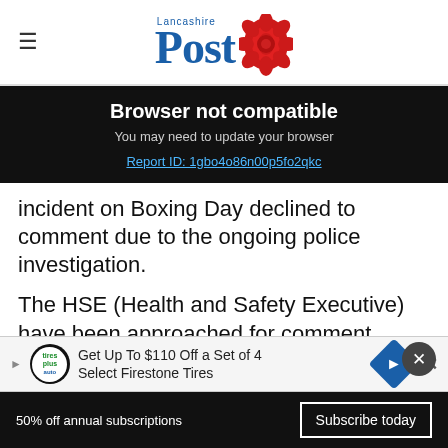Lancashire Post
Browser not compatible
You may need to update your browser
Report ID: 1gbo4o86n00p5fo2qkc
incident on Boxing Day declined to comment due to the ongoing police investigation.
The HSE (Health and Safety Executive) have been approached for comment.
DI Dylan Hrynkow, of West CID, said: This is an
[Figure (other): Advertisement banner: Get Up To $110 Off a Set of 4 Select Firestone Tires with Tires Plus auto logo and blue navigation arrow icon]
50% off annual subscriptions  Subscribe today